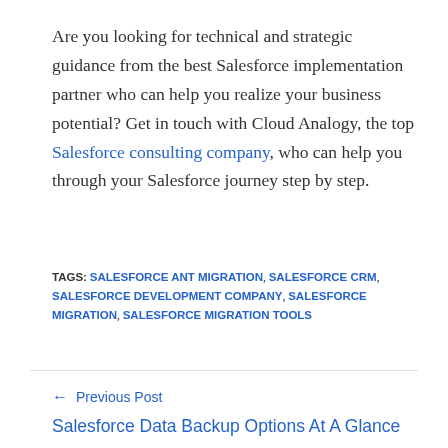Are you looking for technical and strategic guidance from the best Salesforce implementation partner who can help you realize your business potential? Get in touch with Cloud Analogy, the top Salesforce consulting company, who can help you through your Salesforce journey step by step.
TAGS: SALESFORCE ANT MIGRATION, SALESFORCE CRM, SALESFORCE DEVELOPMENT COMPANY, SALESFORCE MIGRATION, SALESFORCE MIGRATION TOOLS
Previous Post Salesforce Data Backup Options At A Glance